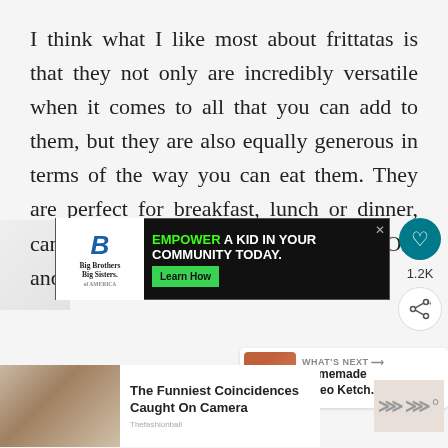I think what I like most about frittatas is that they not only are incredibly versatile when it comes to all that you can add to them, but they are also equally generous in terms of the way you can eat them. They are perfect for breakfast, lunch or dinner, can be eaten hot, warm or even cold. Oh, and utensils are entirely optional, too!
[Figure (screenshot): Big Brothers Big Sisters advertisement banner: 'EMPOWER A KID IN YOUR COMMUNITY TODAY.' with a Learn How button]
[Figure (infographic): Heart/like button showing 1.2K likes and a share button on the right sidebar]
[Figure (screenshot): WHAT'S NEXT arrow with thumbnail image and text 'Homemade Paleo Ketch...']
[Figure (screenshot): Thumbnail image with text 'The Funniest Coincidences Caught On Camera' from Thefashionball]